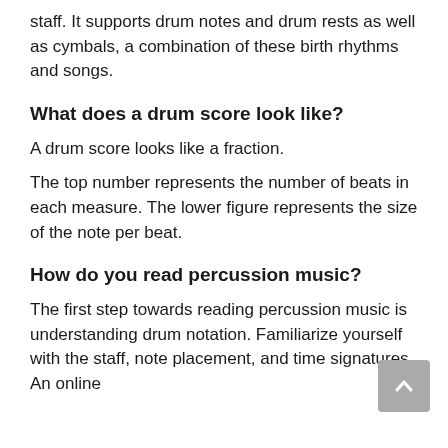staff. It supports drum notes and drum rests as well as cymbals, a combination of these birth rhythms and songs.
What does a drum score look like?
A drum score looks like a fraction.
The top number represents the number of beats in each measure. The lower figure represents the size of the note per beat.
How do you read percussion music?
The first step towards reading percussion music is understanding drum notation. Familiarize yourself with the staff, note placement, and time signatures. An online